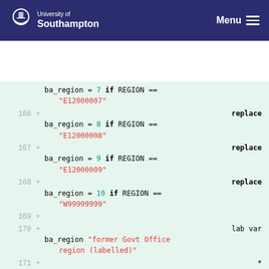University of Southampton — Menu
[Figure (screenshot): Code diff viewer showing lines 166-171 with Stata code assigning ba_region values based on REGION codes, with replace commands and a lab var statement. Lines show: ba_region = 7 if REGION == "E12000007", replace ba_region = 8 if REGION == "E12000008", replace ba_region = 9 if REGION == "E12000009", replace ba_region = 10 if REGION == "W99999999", lab var ba_region "former Govt Office region (labelled)", and a URL reference.]